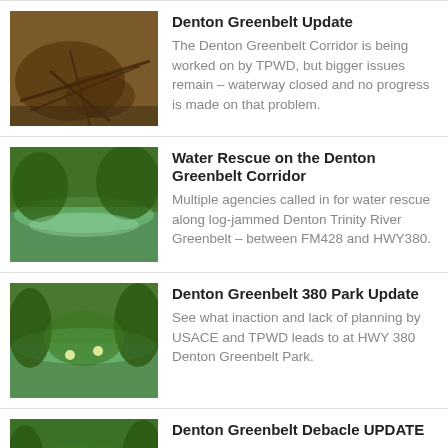Denton Greenbelt Update — The Denton Greenbelt Corridor is being worked on by TPWD, but bigger issues remain – waterway closed and no progress is made on that problem.
Water Rescue on the Denton Greenbelt Corridor — Multiple agencies called in for water rescue along log-jammed Denton Trinity River Greenbelt – between FM428 and HWY380.
Denton Greenbelt 380 Park Update — See what inaction and lack of planning by USACE and TPWD leads to at HWY 380 Denton Greenbelt Park.
Denton Greenbelt Debacle UPDATE — Denton Greenbelt Update. Response from the Greenbelt Alliance. Hedging our bets.
Denton Greenbelt Alliance — A Look at the Organization While I am one of those people who tends to think I can do better than some people at subjects I actually put my mind to, time and age have …